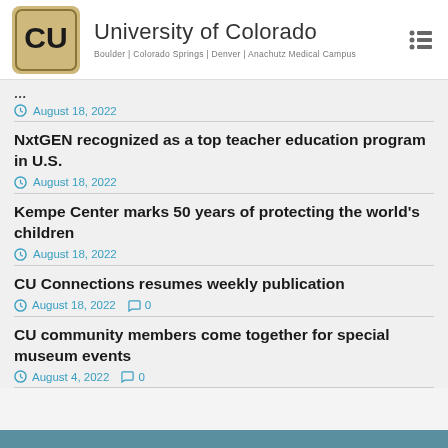University of Colorado | Boulder | Colorado Springs | Denver | Anachutz Medical Campus
August 18, 2022
NxtGEN recognized as a top teacher education program in U.S.
August 18, 2022
Kempe Center marks 50 years of protecting the world's children
August 18, 2022
CU Connections resumes weekly publication
August 18, 2022  0
CU community members come together for special museum events
August 4, 2022  0